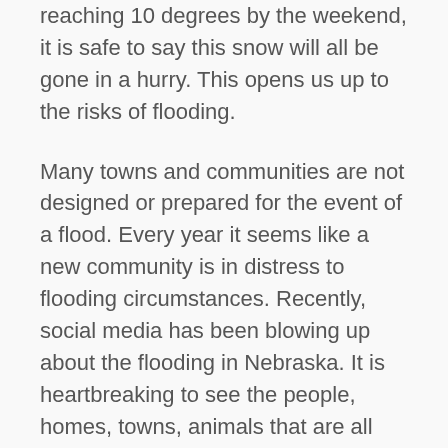reaching 10 degrees by the weekend, it is safe to say this snow will all be gone in a hurry. This opens us up to the risks of flooding.
Many towns and communities are not designed or prepared for the event of a flood. Every year it seems like a new community is in distress to flooding circumstances. Recently, social media has been blowing up about the flooding in Nebraska. It is heartbreaking to see the people, homes, towns, animals that are all affected by the high waters and the